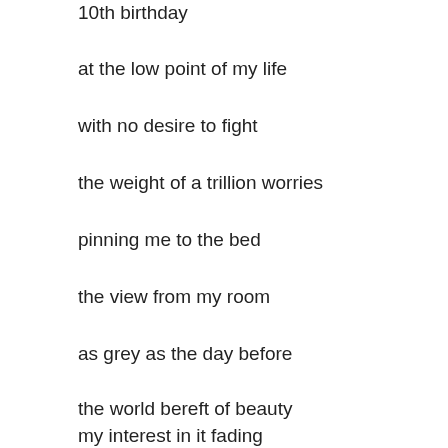10th birthday
at the low point of my life
with no desire to fight
the weight of a trillion worries
pinning me to the bed
the view from my room
as grey as the day before
the world bereft of beauty
my interest in it fading